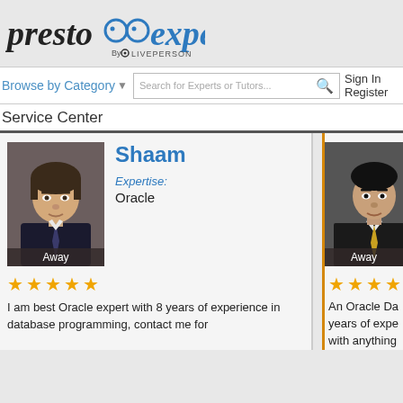[Figure (logo): PrestoExperts by LivePerson logo — stylized italic text 'presto' with glasses icon and 'experts' in blue, 'by LIVEPERSON' below in smaller text]
Browse by Category
Search for Experts or Tutors...
Sign In
Register
Service Center
[Figure (photo): Expert profile photo of Shaam — man with dark hair in suit, status: Away]
Shaam
Expertise:
Oracle
★★★★★
I am best Oracle expert with 8 years of experience in database programming, contact me for
[Figure (photo): Expert profile photo of second expert — man in suit and tie, status: Away, bordered in orange]
★★★★★
An Oracle Da... years of expe... with anything...